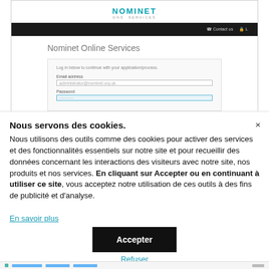[Figure (screenshot): Screenshot of Nominet Online Services login page showing the Nominet logo, navigation bar, page title 'Nominet Online Services', and a login form with Email address and Password fields.]
Nous servons des cookies. Nous utilisons des outils comme des cookies pour activer des services et des fonctionnalités essentiels sur notre site et pour recueillir des données concernant les interactions des visiteurs avec notre site, nos produits et nos services. En cliquant sur Accepter ou en continuant à utiliser ce site, vous acceptez notre utilisation de ces outils à des fins de publicité et d'analyse. En savoir plus
Accepter
Refuser
Gérer les paramètres